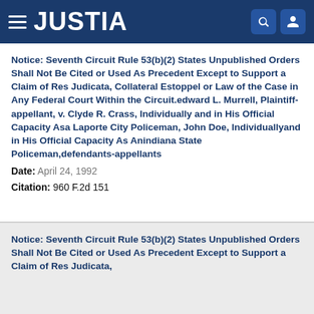JUSTIA
Notice: Seventh Circuit Rule 53(b)(2) States Unpublished Orders Shall Not Be Cited or Used As Precedent Except to Support a Claim of Res Judicata, Collateral Estoppel or Law of the Case in Any Federal Court Within the Circuit.edward L. Murrell, Plaintiff-appellant, v. Clyde R. Crass, Individually and in His Official Capacity Asa Laporte City Policeman, John Doe, Individuallyand in His Official Capacity As Anindiana State Policeman,defendants-appellants
Date: April 24, 1992
Citation: 960 F.2d 151
Notice: Seventh Circuit Rule 53(b)(2) States Unpublished Orders Shall Not Be Cited or Used As Precedent Except to Support a Claim of Res Judicata,